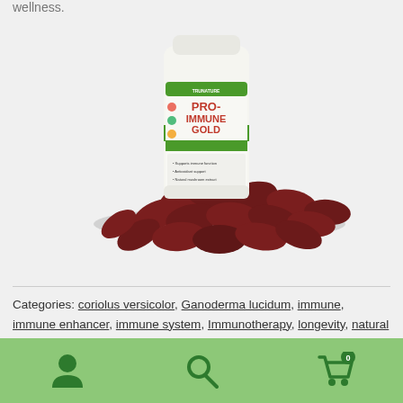wellness.
[Figure (photo): PRO-IMMUNE GOLD supplement bottle with dark red oval tablets scattered in front of it. The bottle has a green and white label with the product name PRO-IMMUNE GOLD.]
Categories: coriolus versicolor, Ganoderma lucidum, immune, immune enhancer, immune system, Immunotherapy, longevity, natural killer cells, polysaccharide-k, polysaccharide-peptides, PRO-IMMUNE GOLD, triterpenes, turkey tail
Navigation footer with user icon, search icon, and cart icon showing 0 items